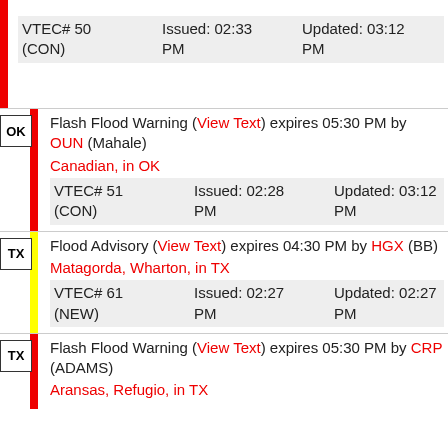| State | Alert | VTEC | Issued | Updated |
| --- | --- | --- | --- | --- |
|  | VTEC# 50 (CON) | Issued: 02:33 PM | Updated: 03:12 PM |
| OK | Flash Flood Warning (View Text) expires 05:30 PM by OUN (Mahale) Canadian, in OK | VTEC# 51 (CON) | Issued: 02:28 PM | Updated: 03:12 PM |
| TX | Flood Advisory (View Text) expires 04:30 PM by HGX (BB) Matagorda, Wharton, in TX | VTEC# 61 (NEW) | Issued: 02:27 PM | Updated: 02:27 PM |
| TX | Flash Flood Warning (View Text) expires 05:30 PM by CRP (ADAMS) Aransas, Refugio, in TX |  |  |  |